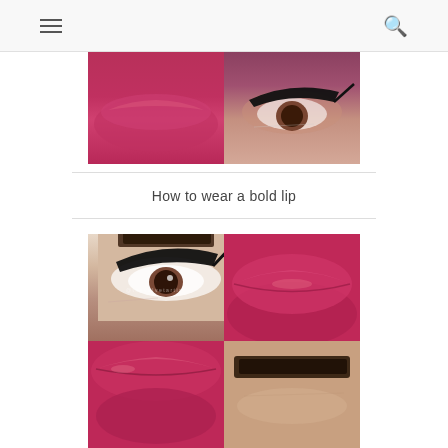Navigation header with menu and search icons
[Figure (photo): Close-up photo showing bold magenta/berry lipstick on the left half and a smoky eye with dramatic winged eyeliner on the right half]
How to wear a bold lip
[Figure (photo): 2x2 grid of four close-up makeup photos: top-left shows eye with winged liner, top-right shows bold berry matte lips, bottom-left shows bold berry matte lips closeup, bottom-right shows eyebrow closeup. Watermark reads @thevelvetartist]